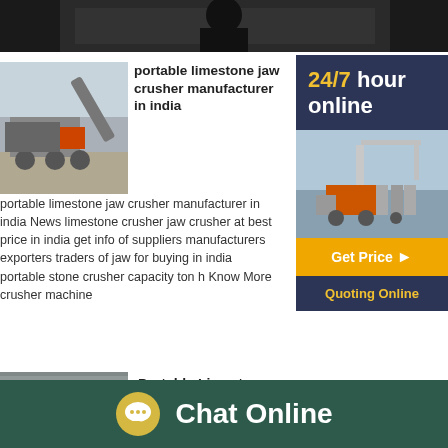[Figure (photo): Dark background top image strip]
[Figure (infographic): Sidebar with 24/7 hour online text, machine image, Get Price button, Quoting Online button]
[Figure (photo): Portable limestone jaw crusher machine photo thumbnail]
portable limestone jaw crusher manufacturer in india
portable limestone jaw crusher manufacturer in india News limestone crusher jaw crusher at best price in india get info of suppliers manufacturers exporters traders of jaw for buying in india portable stone crusher capacity ton h Know More crusher machine
[Figure (photo): Portable Limestone Jaw Crusher machine red/grey photo thumbnail]
Portable Limestone Jaw Crusher Price In India
Chat Online